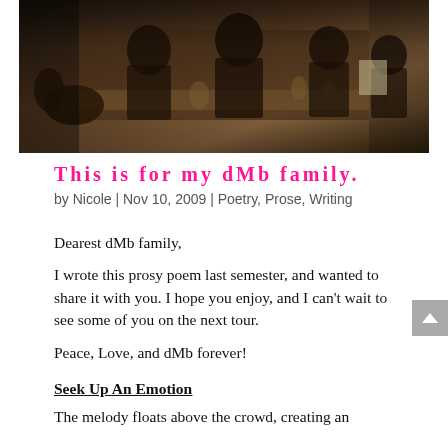[Figure (photo): Black and white / sepia-toned photo of a group of people in formal attire seated at a table, with glasses visible, appearing to be at a dinner or meeting event.]
This is for my dMb family.
by Nicole | Nov 10, 2009 | Poetry, Prose, Writing
Dearest dMb family,
I wrote this prosy poem last semester, and wanted to share it with you. I hope you enjoy, and I can’t wait to see some of you on the next tour.
Peace, Love, and dMb forever!
Seek Up An Emotion
The melody floats above the crowd, creating an